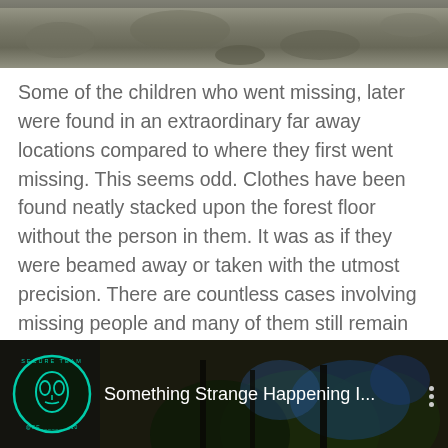[Figure (photo): Grayscale photo showing a rocky or gravelly ground surface, partially visible at the top of the page]
Some of the children who went missing, later were found in an extraordinary far away locations compared to where they first went missing. This seems odd. Clothes have been found neatly stacked upon the forest floor without the person in them. It was as if they were beamed away or taken with the utmost precision. There are countless cases involving missing people and many of them still remain unsolved. What is going on at our national parks and why are people simply vanishing? There are many speculations. Lets hope these people are found soon, so that their families have some closure in their lives.
[Figure (screenshot): YouTube video thumbnail with dark background showing trees and blue light effects. SecureTeam10 logo (alien face in teal circle) visible on left. Title reads 'Something Strange Happening I...' with three-dot menu icon on right.]